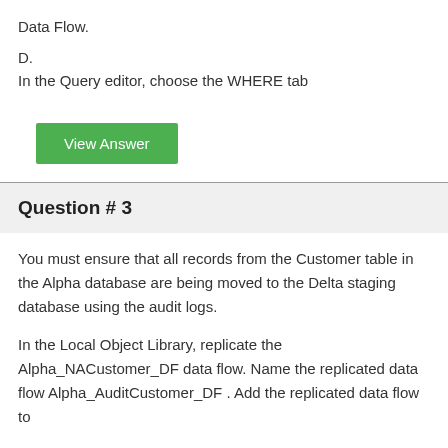Data Flow.
D.
In the Query editor, choose the WHERE tab
View Answer
Question # 3
You must ensure that all records from the Customer table in the Alpha database are being moved to the Delta staging database using the audit logs.
In the Local Object Library, replicate the Alpha_NACustomer_DF data flow. Name the replicated data flow Alpha_AuditCustomer_DF . Add the replicated data flow to
a new job, Alpha_AuditCustomer_Job . Set up auditing on the data flow.